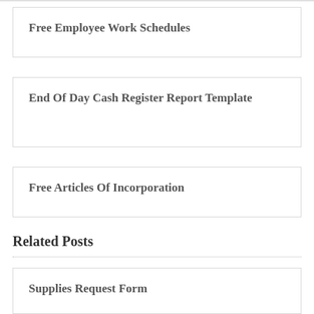Free Employee Work Schedules
End Of Day Cash Register Report Template
Free Articles Of Incorporation
Related Posts
Supplies Request Form